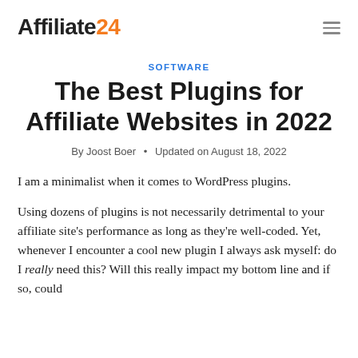Affiliate24
SOFTWARE
The Best Plugins for Affiliate Websites in 2022
By Joost Boer • Updated on August 18, 2022
I am a minimalist when it comes to WordPress plugins.
Using dozens of plugins is not necessarily detrimental to your affiliate site's performance as long as they're well-coded. Yet, whenever I encounter a cool new plugin I always ask myself: do I really need this? Will this really impact my bottom line and if so, could